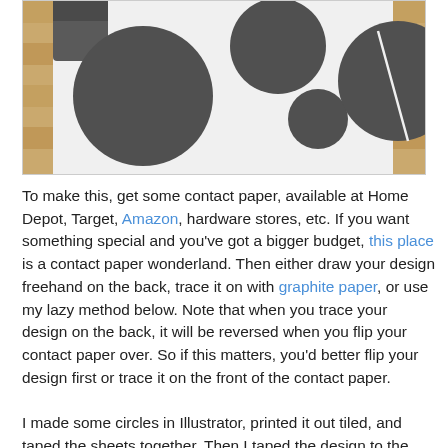[Figure (photo): Photo showing dark grey circular contact paper cutouts laid out on a white surface on a wooden floor, with a roll of dark contact paper visible in the background top-left corner.]
To make this, get some contact paper, available at Home Depot, Target, Amazon, hardware stores, etc. If you want something special and you've got a bigger budget, this place is a contact paper wonderland. Then either draw your design freehand on the back, trace it on with graphite paper, or use my lazy method below. Note that when you trace your design on the back, it will be reversed when you flip your contact paper over. So if this matters, you'd better flip your design first or trace it on the front of the contact paper.

I made some circles in Illustrator, printed it out tiled, and taped the sheets together. Then I taped the design to the back of the contact paper and cut out the shapes. I just eye-balled where to stick them on the shade. If you accidentally stick something where you don't want it, you can reposition it if you slowly peel it up, but you have to be very careful. And after your shade bakes in the sun for awhile, I doubt you'll be